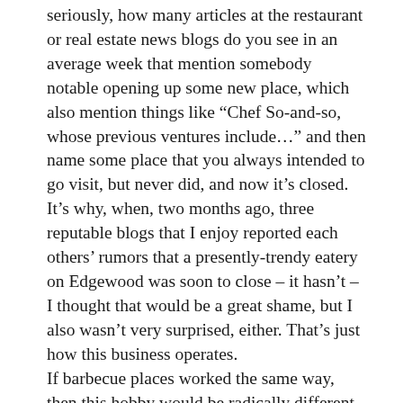seriously, how many articles at the restaurant or real estate news blogs do you see in an average week that mention somebody notable opening up some new place, which also mention things like “Chef So-and-so, whose previous ventures include…” and then name some place that you always intended to go visit, but never did, and now it’s closed. It’s why, when, two months ago, three reputable blogs that I enjoy reported each others’ rumors that a presently-trendy eatery on Edgewood was soon to close – it hasn’t – I thought that would be a great shame, but I also wasn’t very surprised, either. That’s just how this business operates.
If barbecue places worked the same way, then this hobby would be radically different, and no fun at all. Take Atlanta’s Old Brick Pit, for instance. Once upon a time – the mid-seventies and into the early eighties – that place was nationally known. As restaurant